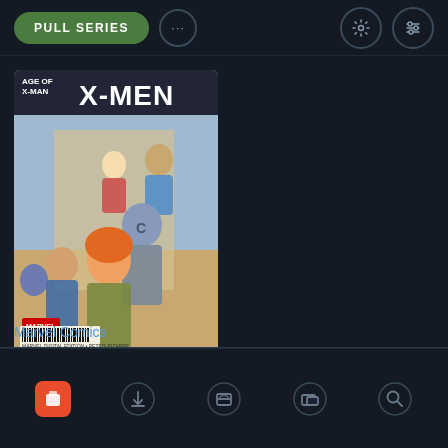[Figure (screenshot): Comic book app interface showing PULL SERIES button, settings icons, X-Men Age of X-Man comic cover, action icons, Marvel Comics publisher label, and bottom navigation bar]
PULL SERIES
Marvel Comics